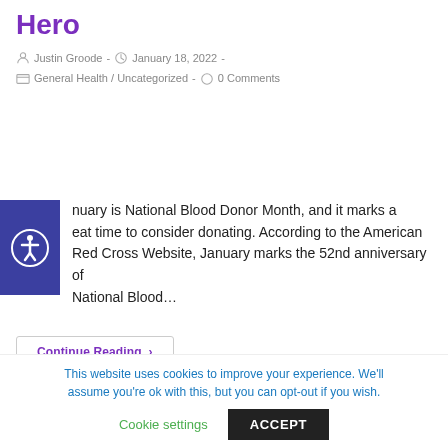Hero
Justin Groode  -  January 18, 2022  -  General Health / Uncategorized  -  0 Comments
[Figure (illustration): Accessibility widget icon showing a person figure in a circle, white on dark blue/purple background]
January is National Blood Donor Month, and it marks a great time to consider donating. According to the American Red Cross Website, January marks the 52nd anniversary of National Blood…
Continue Reading ›
This website uses cookies to improve your experience. We'll assume you're ok with this, but you can opt-out if you wish.
Cookie settings  ACCEPT